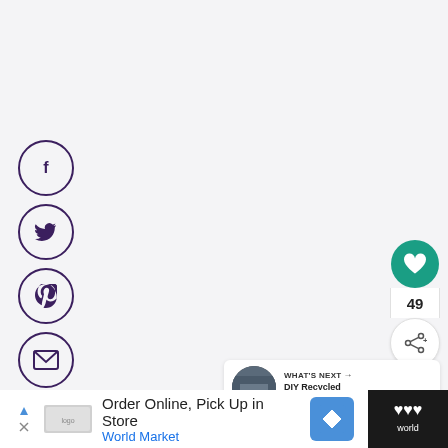[Figure (infographic): Social share sidebar with four circular icon buttons: Facebook (f), Twitter (bird), Pinterest (P), Email (envelope), outlined in dark purple on light grey background]
[Figure (infographic): Right-side action panel: green circle heart/like button, count '49', white circle share button with plus icon]
[Figure (infographic): What's Next card with thumbnail photo and text: 'WHAT'S NEXT → DIY Recycled Jeans Purse...']
[Figure (infographic): Bottom advertisement bar: dark background, white content area with play button, World Market logo, text 'Order Online, Pick Up in Store', 'World Market', blue diamond navigation icon, and World Market logo block on right]